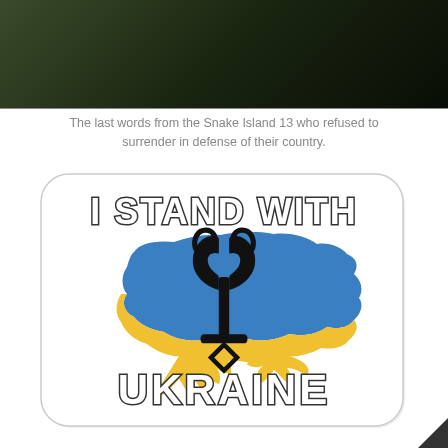[Figure (photo): Dark photograph, mostly black/very dark image at the top of the page]
The last words from the Snake Island 13 who refused to surrender in defense of their country.
[Figure (illustration): Sticker-style illustration with text 'I STAND WITH UKRAINE' surrounding a map of Ukraine colored in blue and yellow (Ukrainian flag colors) with the Ukrainian trident (tryzub) symbol in the center]